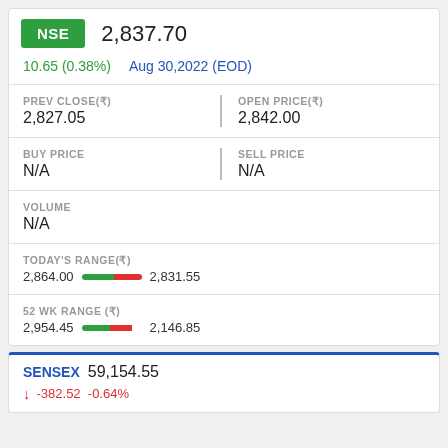NSE  2,837.70
10.65 (0.38%)  Aug 30,2022 (EOD)
|  |  |
| --- | --- |
| PREV CLOSE(₹) | OPEN PRICE(₹) |
| 2,827.05 | 2,842.00 |
| BUY PRICE | SELL PRICE |
| N/A | N/A |
VOLUME
N/A
TODAY'S RANGE(₹)
2,864.00 ——— 2,831.55
52 WK RANGE (₹)
2,954.45 ——— 2,146.85
SENSEX  59,154.55
↓ -382.52  -0.64%